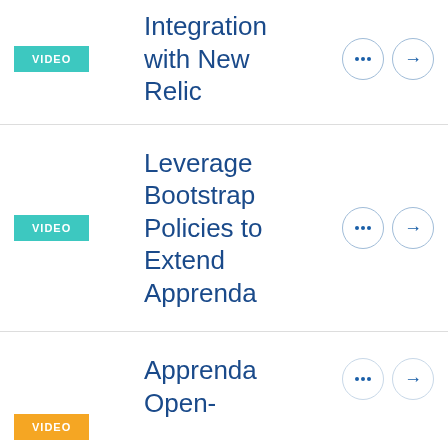Integration with New Relic (VIDEO)
Leverage Bootstrap Policies to Extend Apprenda (VIDEO)
Apprenda Open-